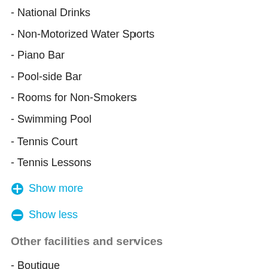- National Drinks
- Non-Motorized Water Sports
- Piano Bar
- Pool-side Bar
- Rooms for Non-Smokers
- Swimming Pool
- Tennis Court
- Tennis Lessons
Show more
Show less
Other facilities and services
- Boutique
- Doctor on Call